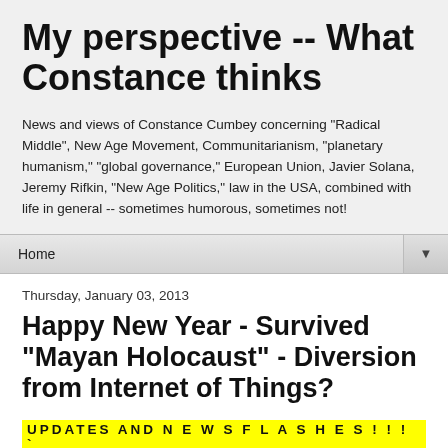My perspective -- What Constance thinks
News and views of Constance Cumbey concerning "Radical Middle", New Age Movement, Communitarianism, "planetary humanism," "global governance," European Union, Javier Solana, Jeremy Rifkin, "New Age Politics," law in the USA, combined with life in general -- sometimes humorous, sometimes not!
Home ▼
Thursday, January 03, 2013
Happy New Year - Survived "Mayan Holocaust" - Diversion from Internet of Things?
UPDATES AND N E W S F L A S H E S  ! ! ! `